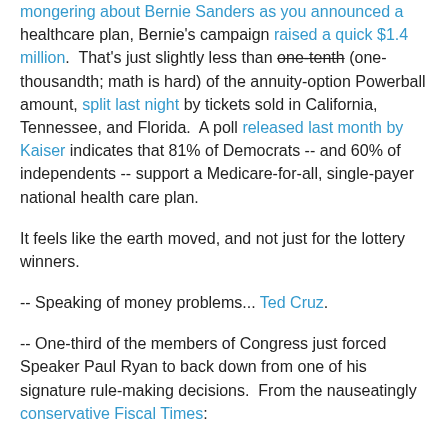mongering about Bernie Sanders as you announced a healthcare plan, Bernie's campaign raised a quick $1.4 million. That's just slightly less than one-tenth (one-thousandth; math is hard) of the annuity-option Powerball amount, split last night by tickets sold in California, Tennessee, and Florida. A poll released last month by Kaiser indicates that 81% of Democrats -- and 60% of independents -- support a Medicare-for-all, single-payer national health care plan.
It feels like the earth moved, and not just for the lottery winners.
-- Speaking of money problems... Ted Cruz.
-- One-third of the members of Congress just forced Speaker Paul Ryan to back down from one of his signature rule-making decisions. From the nauseatingly conservative Fiscal Times:
On Wednesday, Ryan took one of his first high-profile steps toward instilling a little discipline in